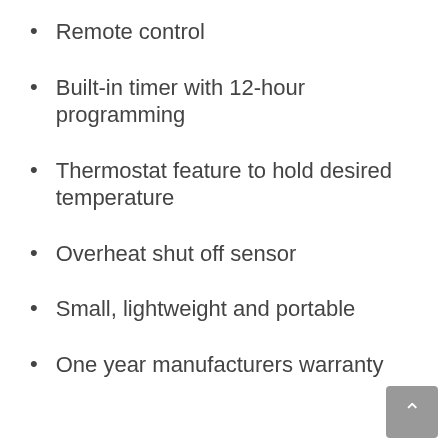Remote control
Built-in timer with 12-hour programming
Thermostat feature to hold desired temperature
Overheat shut off sensor
Small, lightweight and portable
One year manufacturers warranty